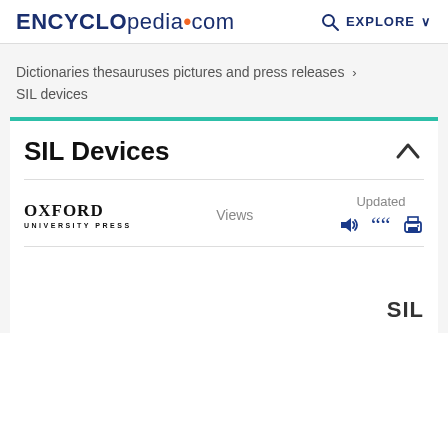ENCYCLOpedia.com  EXPLORE
Dictionaries thesauruses pictures and press releases ›
SIL devices
SIL Devices
[Figure (logo): Oxford University Press logo]
Views
Updated
SIL